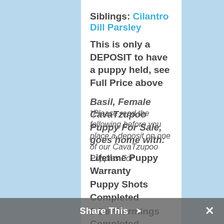Siblings: Cilantro Dill Parsley
This is only a DEPOSIT to have a puppy held, see Full Price above
Basil, Female CavaTzupoo Puppy For Sale, goes home with:
Lifetime Puppy Warranty
Puppy Shots Completed
2 De-Wormings Completed
*Please read the following before you place a deposit on one of our CavaTzupoo Puppies For